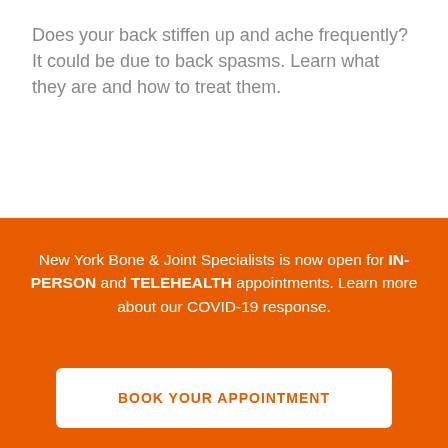Does your back stiffen up and ache frequently? It could be due to back spasms. Learn what they are and how to treat them.
READ THE ARTICLE
[Figure (photo): A horizontal strip of two photos showing interior/exterior scenes, partially visible.]
New York Bone & Joint Specialists is now open for IN-PERSON and TELEHEALTH appointments. Learn more about our COVID-19 response.
BOOK YOUR APPOINTMENT